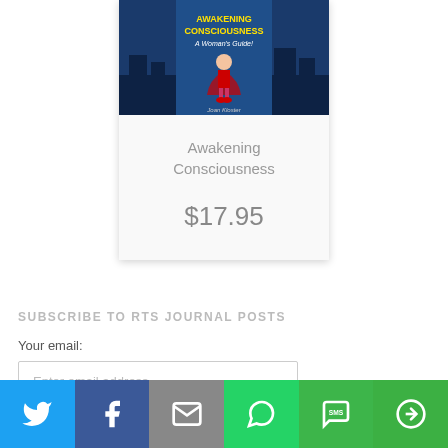[Figure (illustration): Book cover for 'Awakening Consciousness: A Woman's Guide' shown inside a product card with price $17.95]
Awakening Consciousness
$17.95
SUBSCRIBE TO RTS JOURNAL POSTS
Your email:
Enter email address...
[Figure (infographic): Social sharing bar with Twitter, Facebook, Email, WhatsApp, SMS, and More share buttons]